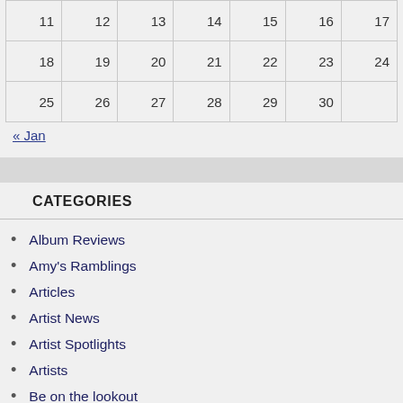| 11 | 12 | 13 | 14 | 15 | 16 | 17 |
| 18 | 19 | 20 | 21 | 22 | 23 | 24 |
| 25 | 26 | 27 | 28 | 29 | 30 |  |
« Jan
CATEGORIES
Album Reviews
Amy's Ramblings
Articles
Artist News
Artist Spotlights
Artists
Be on the lookout
Best of 2003
Best of 2004
Best of 2005